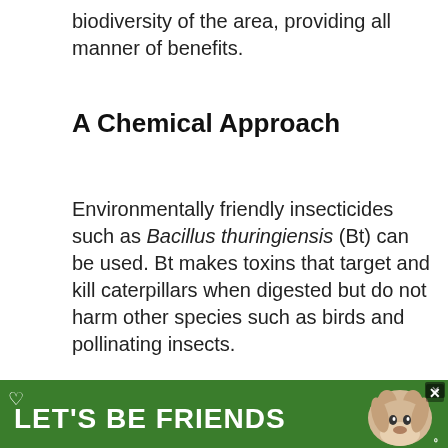biodiversity of the area, providing all manner of benefits.
A Chemical Approach
Environmentally friendly insecticides such as Bacillus thuringiensis (Bt) can be used. Bt makes toxins that target and kill caterpillars when digested but do not harm other species such as birds and pollinating insects.
It is ideal for use against tent caterpillars in the larvae stage from May to June and against fall webworms from early Fall to late Summer to prevent them from making these spider web
[Figure (other): Advertisement banner reading LET'S BE FRIENDS with a dog image and close button]